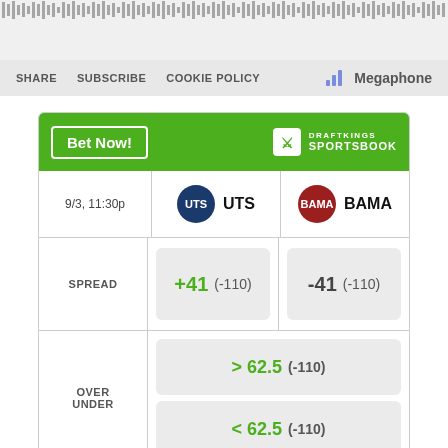[Figure (other): Podcast audio waveform visualization bar]
SHARE  SUBSCRIBE  COOKIE POLICY  Megaphone
[Figure (other): DraftKings Sportsbook betting widget showing UTS vs BAMA game on 9/3 at 11:30p. Spread: UTS +41 (-110), BAMA -41 (-110). Over/Under: > 62.5 (-110) and < 62.5 (-110). Disclaimer: Odds/Lines subject to change. See draftkings.com for details.]
[Figure (other): AD bar - PRESENTED BY T-Mobile]